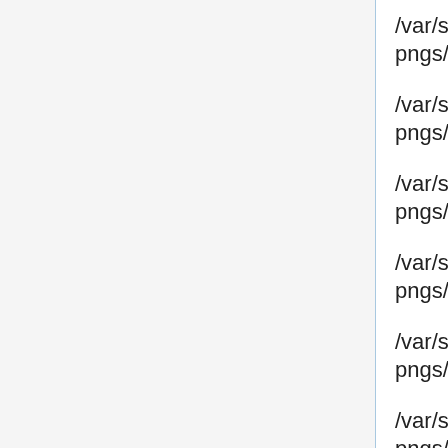/var/screens/connect-pngs/Particle_0008.png
/var/screens/connect-pngs/Particle_0009.png
/var/screens/connect-pngs/Particle_0010.png
/var/screens/connect-pngs/Particle_0011.png
/var/screens/connect-pngs/Particle_0012.png
/var/screens/connect-pngs/Particle_0013.png
/var/screens/connect-pngs/Particle_0014.png
/var/screens/connect-pngs/Particle_0015.png
/var/screens/connect-pngs/Particle_0016.png